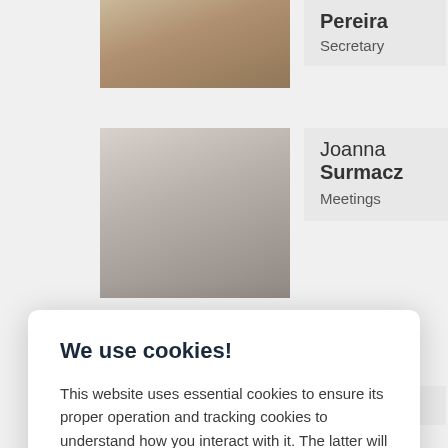[Figure (photo): Partial photo of a woman (Pereira) at top, cropped]
Pereira
Secretary
[Figure (photo): Photo of Joanna Surmacz, a woman with short gray hair, smiling]
Joanna Surmacz
Meetings
We use cookies!
This website uses essential cookies to ensure its proper operation and tracking cookies to understand how you interact with it. The latter will be set only after consent.
Let me choose
Accept all
Reject all
[Figure (photo): Partial photo of Pablo (cropped) at bottom]
Pablo